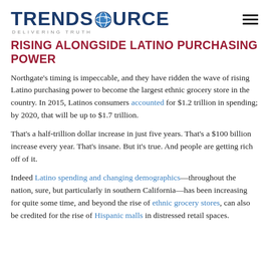TRENDSOURCE DELIVERING TRUTH
RISING ALONGSIDE LATINO PURCHASING POWER
Northgate's timing is impeccable, and they have ridden the wave of rising Latino purchasing power to become the largest ethnic grocery store in the country. In 2015, Latinos consumers accounted for $1.2 trillion in spending; by 2020, that will be up to $1.7 trillion.
That's a half-trillion dollar increase in just five years. That's a $100 billion increase every year. That's insane. But it's true. And people are getting rich off of it.
Indeed Latino spending and changing demographics—throughout the nation, sure, but particularly in southern California—has been increasing for quite some time, and beyond the rise of ethnic grocery stores, can also be credited for the rise of Hispanic malls in distressed retail spaces.